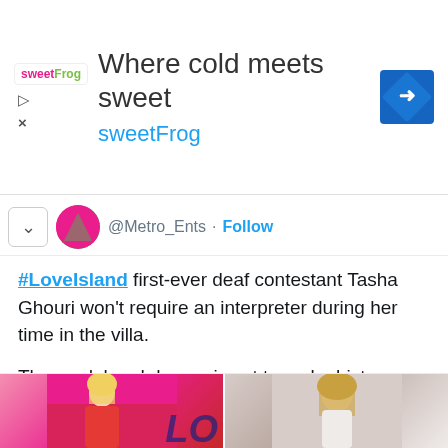[Figure (screenshot): SweetFrog advertisement banner with logo, headline 'Where cold meets sweet', subheadline 'sweetFrog', and a blue diamond arrow icon]
@Metro_Ents · Follow
#LoveIsland first-ever deaf contestant Tasha Ghouri won't require an interpreter during her time in the villa.

The model and dancer is set to make history on series eight of the ITV2 show ❤️ 🌴

Let's discuss 👇
[Figure (photo): Two photos side by side: left shows a blonde woman in a red outfit, right shows a woman with long blonde hair]